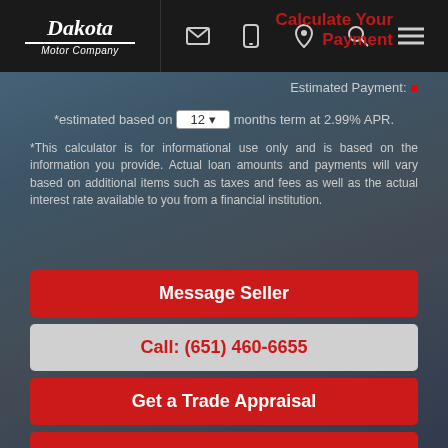Dakota Motor Company
Estimated Payment:
*estimated based on 12 months term at 2.99% APR.
*This calculator is for informational use only and is based on the information you provide. Actual loan amounts and payments will vary based on additional items such as taxes and fees as well as the actual interest rate available to you from a financial institution.
Message Seller
Call: (651) 460-6655
Get a Trade Appraisal
Schedule a Test Drive
Get Directions
Print eBrochure
Get Approved